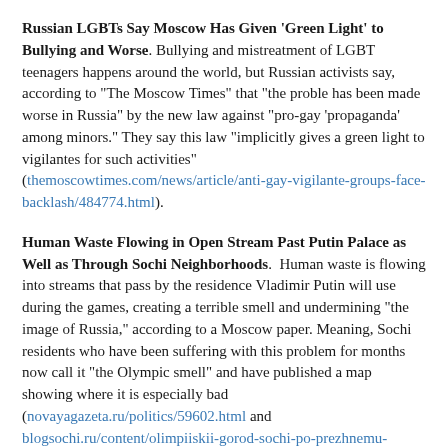Russian LGBTs Say Moscow Has Given 'Green Light' to Bullying and Worse. Bullying and mistreatment of LGBT teenagers happens around the world, but Russian activists say, according to "The Moscow Times" that "the proble has been made worse in Russia" by the new law against "pro-gay 'propaganda' among minors." They say this law "implicitly gives a green light to vigilantes for such activities" (themoscowtimes.com/news/article/anti-gay-vigilante-groups-face-backlash/484774.html).
Human Waste Flowing in Open Stream Past Putin Palace as Well as Through Sochi Neighborhoods. Human waste is flowing into streams that pass by the residence Vladimir Putin will use during the games, creating a terrible smell and undermining "the image of Russia," according to a Moscow paper. Meaning, Sochi residents who have been suffering with this problem for months now call it "the Olympic smell" and have published a map showing where it is especially bad (novayagazeta.ru/politics/59602.html and blogsochi.ru/content/olimpiiskii-gorod-sochi-po-prezhnemu-pakhnet-tsvetami-khotite-znat-gde).